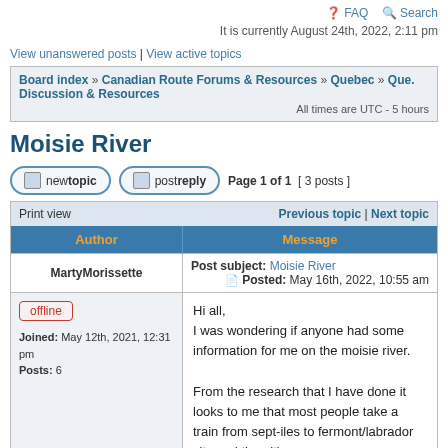FAQ  Search
It is currently August 24th, 2022, 2:11 pm
View unanswered posts | View active topics
Board index » Canadian Route Forums & Resources » Quebec » Que. Discussion & Resources  All times are UTC - 5 hours
Moisie River
new topic  post reply  Page 1 of 1  [ 3 posts ]
| Author | Message |
| --- | --- |
| MartyMorissette | Post subject: Moisie River
Posted: May 16th, 2022, 10:55 am |
| offline
Joined: May 12th, 2021, 12:31 pm
Posts: 6 | Hi all,
I was wondering if anyone had some information for me on the moisie river.

From the research that I have done it looks to me that most people take a train from sept-iles to fermont/labrador city and then it's a |